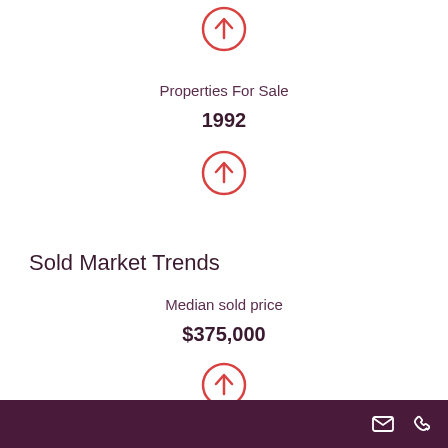[Figure (infographic): Red circle with upward arrow icon at top of page]
Properties For Sale
1992
[Figure (infographic): Red circle with upward arrow icon below 1992 value]
Sold Market Trends
Median sold price
$375,000
[Figure (infographic): Red circle with upward arrow icon below $375,000 value]
Footer bar with email and phone icons